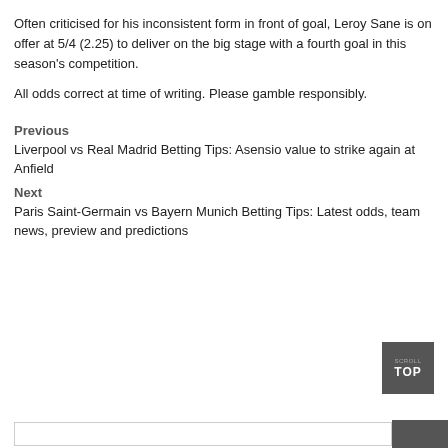Often criticised for his inconsistent form in front of goal, Leroy Sane is on offer at 5/4 (2.25) to deliver on the big stage with a fourth goal in this season's competition.
All odds correct at time of writing. Please gamble responsibly.
Previous
Liverpool vs Real Madrid Betting Tips: Asensio value to strike again at Anfield
Next
Paris Saint-Germain vs Bayern Munich Betting Tips: Latest odds, team news, preview and predictions